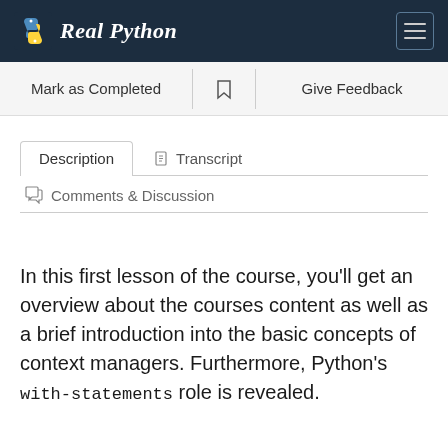Real Python
Mark as Completed   Give Feedback
Description   Transcript   Comments & Discussion
In this first lesson of the course, you'll get an overview about the courses content as well as a brief introduction into the basic concepts of context managers. Furthermore, Python's with-statements role is revealed.